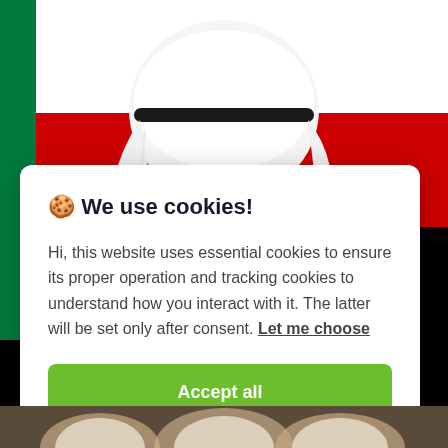[Figure (photo): Photo of a man wearing a white keffiyeh/headdress in front of UAE flag with red, white, black and green colors. A cookie consent modal dialog overlays the photo.]
🍪 We use cookies!
Hi, this website uses essential cookies to ensure its proper operation and tracking cookies to understand how you interact with it. The latter will be set only after consent. Let me choose
Accept all
Reject all